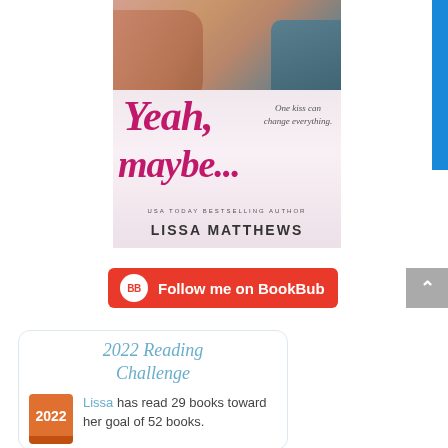[Figure (illustration): Book cover for 'Yeah, maybe...' by Lissa Matthews (USA Today Bestselling Author). Shows a male torso with tattoos and denim, with the title in pink script cursive and tagline 'One kiss can change everything.']
[Figure (other): BookBub follow button — red/orange rounded rectangle with BB logo circle and text 'Follow me on BookBub']
2022 Reading Challenge
Lissa has read 29 books toward her goal of 52 books.